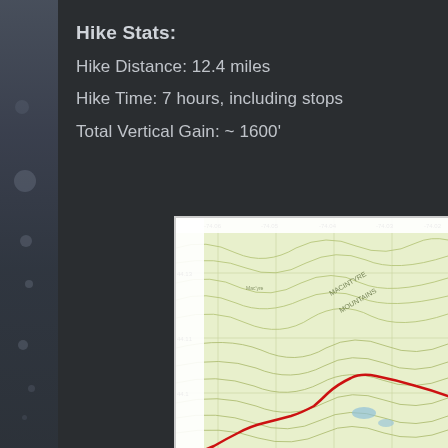Hike Stats:
Hike Distance:  12.4 miles
Hike Time:  7 hours, including stops
Total Vertical Gain:  ~ 1600'
[Figure (map): Topographic map showing trail route with red line overlay, contour lines visible, coordinate labels along edges (-74.06, -74.05, -74.04, -74.03, -74.02 on top; 44.13, 44.11, 44.1 on side). Green terrain with Macintyre Mountains labeled.]